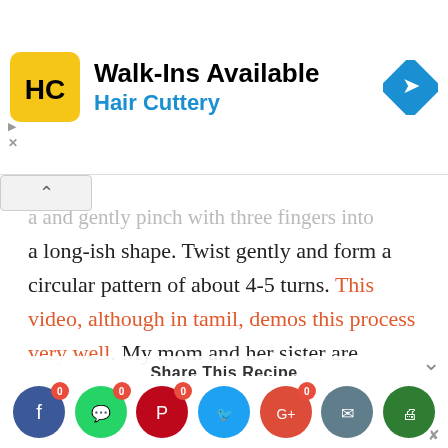[Figure (other): Hair Cuttery advertisement banner with logo, 'Walk-Ins Available' text, and directional arrow icon]
a and gently pinch with three fingers into a long-ish shape. Twist gently and form a circular pattern of about 4-5 turns. This video, although in tamil, demos this process very well. My mom and her sister are experts and get the shape beautifully because they've been doing this for years so don't be put off if yours doesn't come out well the first time. Keep your fingers. Moist and lightly greased to make the process easier.
[Figure (other): Share This Recipe bar with social media icons: Facebook, WhatsApp, Pinterest, Twitter, Google+, Email, Print]